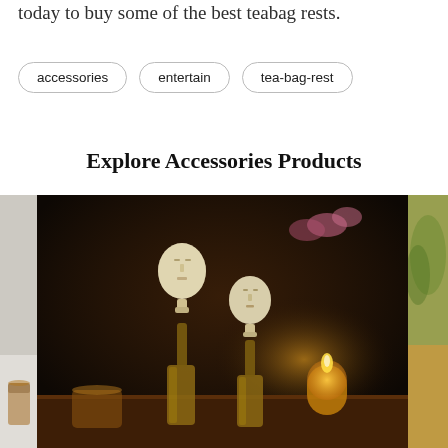today to buy some of the best teabag rests.
accessories
entertain
tea-bag-rest
Explore Accessories Products
[Figure (photo): Three product images in a horizontal strip: left image partially cropped showing a glass with amber liquid on a light grey surface; center image showing two decorative bottle stoppers with carved face designs (Easter Island style) on glass bottles with a candle and flowers in the background on a wooden table; right image partially cropped showing a glass vessel with green botanical elements.]